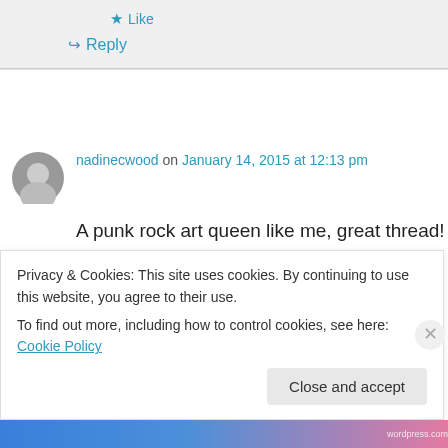Like
Reply
nadinecwood on January 14, 2015 at 12:13 pm
A punk rock art queen like me, great thread!
Like
Privacy & Cookies: This site uses cookies. By continuing to use this website, you agree to their use.
To find out more, including how to control cookies, see here: Cookie Policy
Close and accept